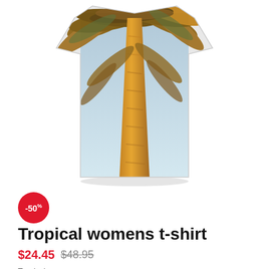[Figure (photo): A tropical women's t-shirt displayed as a flat lay, showing a palm tree photo print on a white t-shirt shape, viewed from below looking up at the palm tree against a sky background.]
-50%
Tropical womens t-shirt
$24.45  $48.95
Tropical
[Figure (photo): Row of product thumbnail images showing variations of tropical print apparel including t-shirts and tank tops in palm tree and tropical leaf patterns.]